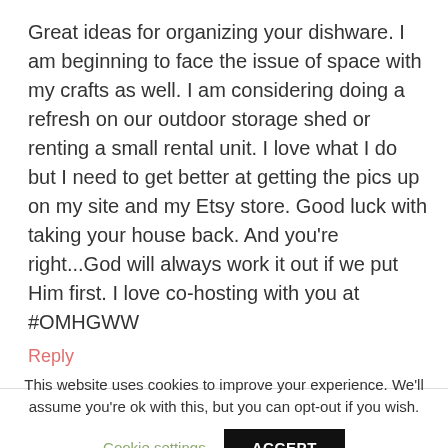Great ideas for organizing your dishware. I am beginning to face the issue of space with my crafts as well. I am considering doing a refresh on our outdoor storage shed or renting a small rental unit. I love what I do but I need to get better at getting the pics up on my site and my Etsy store. Good luck with taking your house back. And you're right...God will always work it out if we put Him first. I love co-hosting with you at #OMHGWW
Reply
This website uses cookies to improve your experience. We'll assume you're ok with this, but you can opt-out if you wish.
Cookie settings
ACCEPT